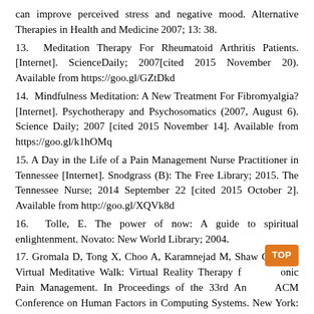can improve perceived stress and negative mood. Alternative Therapies in Health and Medicine 2007; 13: 38.
13. Meditation Therapy For Rheumatoid Arthritis Patients. [Internet]. ScienceDaily; 2007[cited 2015 November 20). Available from https://goo.gl/GZtDkd
14. Mindfulness Meditation: A New Treatment For Fibromyalgia? [Internet]. Psychotherapy and Psychosomatics (2007, August 6). Science Daily; 2007 [cited 2015 November 14]. Available from https://goo.gl/k1hOMq
15. A Day in the Life of a Pain Management Nurse Practitioner in Tennessee [Internet]. Snodgrass (B): The Free Library; 2015. The Tennessee Nurse; 2014 September 22 [cited 2015 October 2]. Available from http://goo.gl/XQVk8d
16. Tolle, E. The power of now: A guide to spiritual enlightenment. Novato: New World Library; 2004.
17. Gromala D, Tong X, Choo A, Karamnejad M, Shaw CD. The Virtual Meditative Walk: Virtual Reality Therapy f[TOP]onic Pain Management. In Proceedings of the 33rd Annual ACM Conference on Human Factors in Computing Systems. New York: CHI 2015: 521-524.